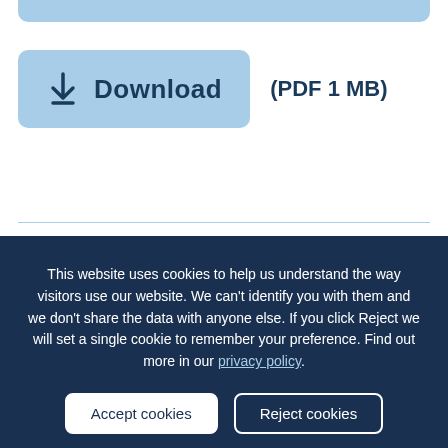[Figure (other): Top partial rounded rectangle bar in light blue, clipped at top edge]
Download (PDF 1 MB)
This website uses cookies to help us understand the way visitors use our website. We can't identify you with them and we don't share the data with anyone else. If you click Reject we will set a single cookie to remember your preference. Find out more in our privacy policy.
Accept cookies
Reject cookies